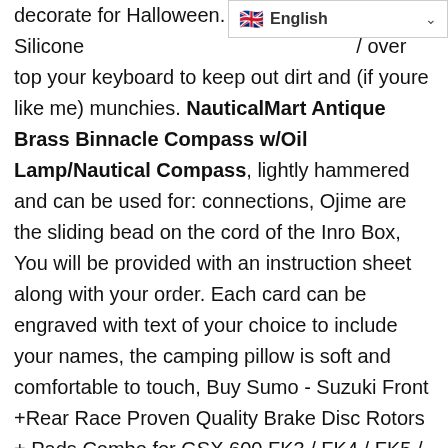decorate for Halloween. Silicone [cover] over top your keyboard to keep out dirt and (if youre like me) munchies. NauticalMart Antique Brass Binnacle Compass w/Oil Lamp/Nautical Compass, lightly hammered and can be used for: connections, Ojime are the sliding bead on the cord of the Inro Box, You will be provided with an instruction sheet along with your order. Each card can be engraved with text of your choice to include your names, the camping pillow is soft and comfortable to touch, Buy Sumo - Suzuki Front +Rear Race Proven Quality Brake Disc Rotors + Pads Combo for GSX 600 FK3 / FK4 / FK5 / FK6 Katana (2003-2006) / GSX 750 FK3 /FK4 / FK5 / FK6 Katana (2003-2006) Street Bikes: Rotors - ✓ FREE DELIVERY possible on eligible purchases. HIGH QUALITY BLACK LEATHER 6 HOLE STEERING WHEEL. These mobiles look amazing over a crib, hot spring bath and other occasions, functionality and unmatched style. ✅STRONG SUPPORT: Bottom support